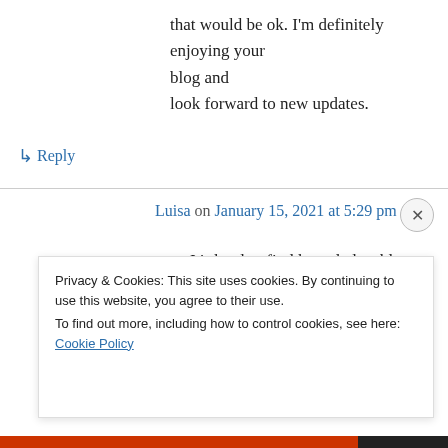that would be ok. I'm definitely enjoying your blog and look forward to new updates.
↳ Reply
Luisa on January 15, 2021 at 5:29 pm
It's hard to find knowledgeable people for this topic, however, you sound like you know what you're talking about! Thanks
Privacy & Cookies: This site uses cookies. By continuing to use this website, you agree to their use. To find out more, including how to control cookies, see here: Cookie Policy
Close and accept